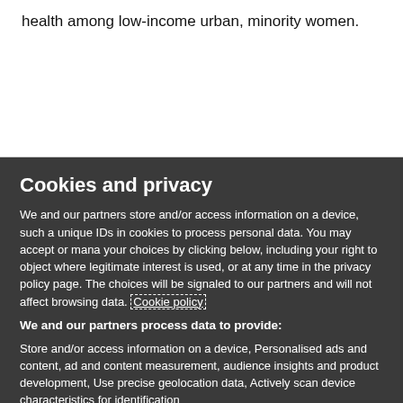health among low-income urban, minority women.
Cookies and privacy
We and our partners store and/or access information on a device, such a unique IDs in cookies to process personal data. You may accept or mana your choices by clicking below, including your right to object where legitimate interest is used, or at any time in the privacy policy page. The choices will be signaled to our partners and will not affect browsing data. Cookie policy
We and our partners process data to provide:
Store and/or access information on a device, Personalised ads and content, ad and content measurement, audience insights and product development, Use precise geolocation data, Actively scan device characteristics for identification
List of Partners (vendors)
I Accept